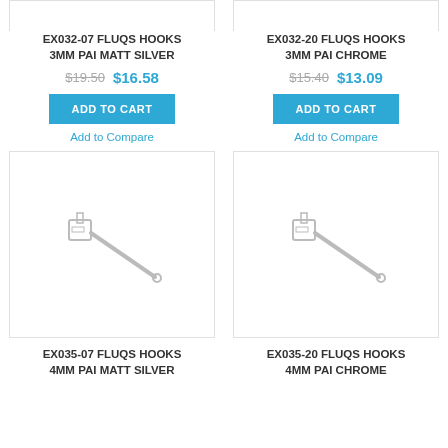[Figure (illustration): Product image placeholder for EX032-07 hook (top, partially visible)]
EX032-07 FLUQS HOOKS 3MM PAI MATT SILVER
$19.50  $16.58
ADD TO CART
Add to Compare
[Figure (illustration): Product image placeholder for EX032-20 hook (top, partially visible)]
EX032-20 FLUQS HOOKS 3MM PAI CHROME
$15.40  $13.09
ADD TO CART
Add to Compare
[Figure (illustration): Line drawing of EX035-07 FLUQS hook, 4MM PAI Matt Silver - diagonal peg hook with mounting bracket]
EX035-07 FLUQS HOOKS 4MM PAI MATT SILVER
[Figure (illustration): Line drawing of EX035-20 FLUQS hook, 4MM PAI Chrome - diagonal peg hook with mounting bracket]
EX035-20 FLUQS HOOKS 4MM PAI CHROME